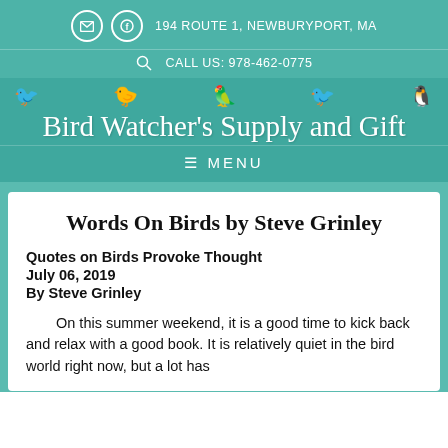194 ROUTE 1, NEWBURYPORT, MA
CALL US: 978-462-0775
Bird Watcher's Supply and Gift
MENU
Words On Birds by Steve Grinley
Quotes on Birds Provoke Thought
July 06, 2019
By Steve Grinley
On this summer weekend, it is a good time to kick back and relax with a good book. It is relatively quiet in the bird world right now, but a lot has